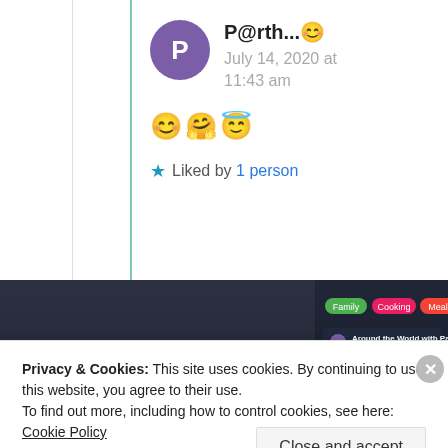P@rth...😊 — July 14, 2020 at 11:43 am
😊🤗😇
★ Liked by 1 person
[Figure (screenshot): Dark-themed app promotional banner showing text 'on the go.' and a mobile app interface with 'Around the World with Pam' content]
Privacy & Cookies: This site uses cookies. By continuing to use this website, you agree to their use.
To find out more, including how to control cookies, see here: Cookie Policy
Close and accept